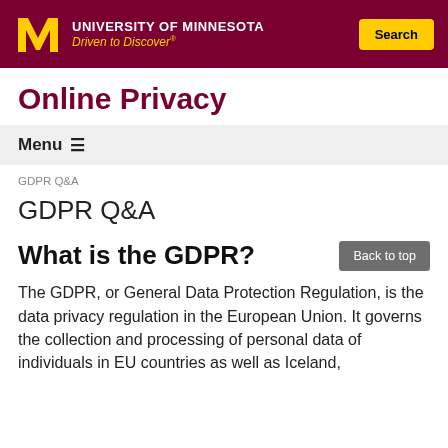University of Minnesota — Driven to Discover®  [Search button]
Online Privacy
Menu ☰
GDPR Q&A
GDPR Q&A
What is the GDPR?
The GDPR, or General Data Protection Regulation, is the data privacy regulation in the European Union. It governs the collection and processing of personal data of individuals in EU countries as well as Iceland,